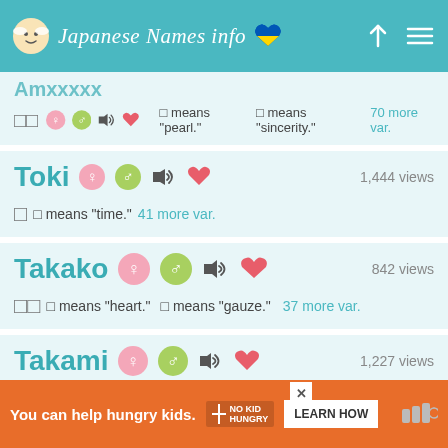Japanese Names info
□□ □ means "pearl." □ means "sincerity." 70 more var.
Toki — 1,444 views
□ □ means "time." 41 more var.
Takako — 842 views
□□ □ means "heart." □ means "gauze." 37 more var.
Takami — 1,227 views
[Figure (other): Advertisement banner: You can help hungry kids. No Kid Hungry. LEARN HOW button.]